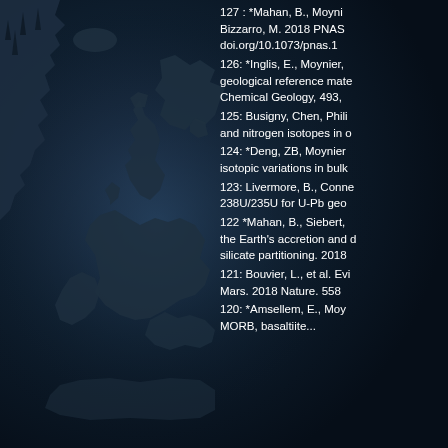[Figure (map): Dark blue world map silhouette showing Europe and North Atlantic region including British Isles, Scandinavia, and continental Europe against a dark navy background]
127 : *Mahan, B., Moyni... Bizzarro, M. 2018 PNAS doi.org/10.1073/pnas.1...
126: *Inglis, E., Moynier, geological reference mate... Chemical Geology, 493,
125: Busigny, Chen, Phili... and nitrogen isotopes in o...
124: *Deng, ZB, Moynier isotopic variations in bulk...
123: Livermore, B., Conne... 238U/235U for U-Pb geo...
122 *Mahan, B., Siebert, the Earth's accretion and d... silicate partitioning. 2018
121: Bouvier, L., et al. Evi... Mars. 2018 Nature. 558
120: *Amsellem, E., Moy... MORB, basaltiite...